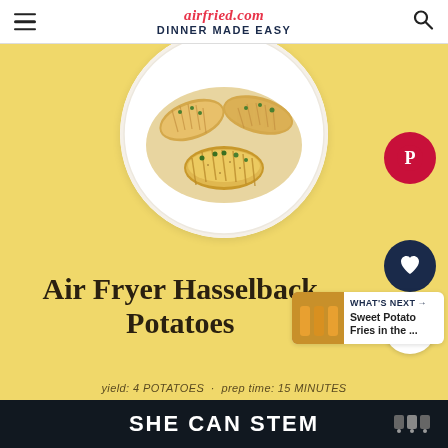airfried.com DINNER MADE EASY
[Figure (photo): Overhead close-up of hasselback potatoes with accordion slices, seasoned and garnished with fresh herbs, served on a white plate]
Air Fryer Hasselback Potatoes
WHAT'S NEXT → Sweet Potato Fries in the ...
yield: 4 POTATOES   prep time: 15 MINUTES
SHE CAN STEM